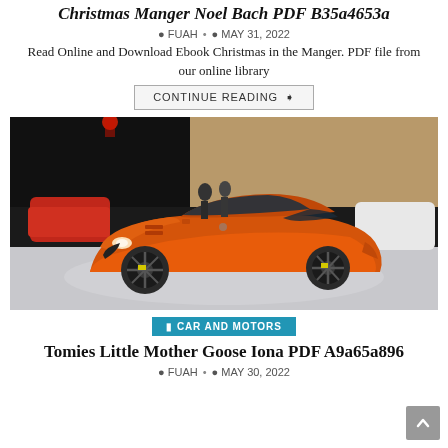Christmas Manger Noel Bach PDF B35a4653a
FUAH • MAY 31, 2022
Read Online and Download Ebook Christmas in the Manger. PDF file from our online library
CONTINUE READING ❯
[Figure (photo): Orange Jaguar F-Type SVR sports car on display at an auto show, with other cars visible in the background on a dark stage.]
CAR AND MOTORS
Tomies Little Mother Goose Iona PDF A9a65a896
FUAH • MAY 30, 2022